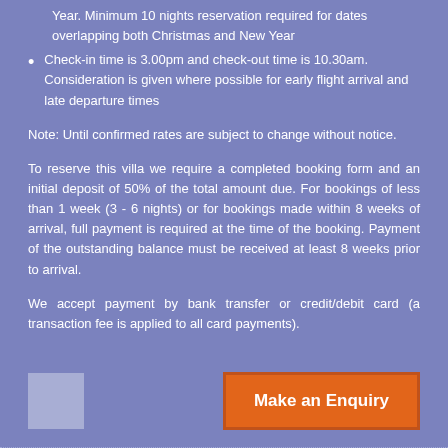Year. Minimum 10 nights reservation required for dates overlapping both Christmas and New Year
Check-in time is 3.00pm and check-out time is 10.30am. Consideration is given where possible for early flight arrival and late departure times
Note: Until confirmed rates are subject to change without notice.
To reserve this villa we require a completed booking form and an initial deposit of 50% of the total amount due. For bookings of less than 1 week (3 - 6 nights) or for bookings made within 8 weeks of arrival, full payment is required at the time of the booking. Payment of the outstanding balance must be received at least 8 weeks prior to arrival.
We accept payment by bank transfer or credit/debit card (a transaction fee is applied to all card payments).
[Figure (logo): Small square logo placeholder in light purple/grey]
Make an Enquiry